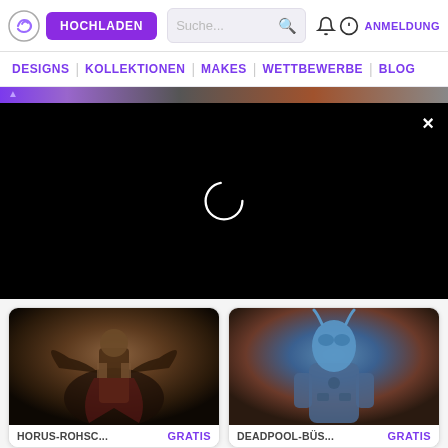HOCHLADEN | Suche... | ANMELDUNG
DESIGNS | KOLLEKTIONEN | MAKES | WETTBEWERBE | BLOG
[Figure (screenshot): Black video loading overlay with white circular spinner and close X button]
[Figure (photo): Horus miniature figure with dark armour and wings, Warhammer style]
HORUS-ROHSC...
GRATIS
[Figure (photo): Deadpool bust miniature figure in blue and brown steampunk style]
DEADPOOL-BÜS...
GRATIS